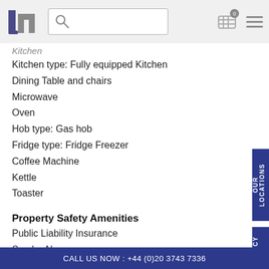JNn [logo] [search box] [building icon 0] [hamburger menu]
Kitchen
Kitchen type: Fully equipped Kitchen
Dining Table and chairs
Microwave
Oven
Hob type: Gas hob
Fridge type: Fridge Freezer
Coffee Machine
Kettle
Toaster
Property Safety Amenities
Public Liability Insurance
Smoke Alarms
Electrical safety check
Emergency Information in apartment
Spyholes
Management available 24 hours a day
CALL US NOW : +44 (0)20 3743 7336